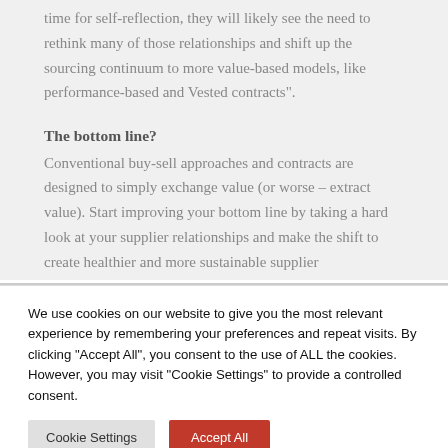time for self-reflection, they will likely see the need to rethink many of those relationships and shift up the sourcing continuum to more value-based models, like performance-based and Vested contracts".
The bottom line?
Conventional buy-sell approaches and contracts are designed to simply exchange value (or worse – extract value). Start improving your bottom line by taking a hard look at your supplier relationships and make the shift to create healthier and more sustainable supplier
We use cookies on our website to give you the most relevant experience by remembering your preferences and repeat visits. By clicking "Accept All", you consent to the use of ALL the cookies. However, you may visit "Cookie Settings" to provide a controlled consent.